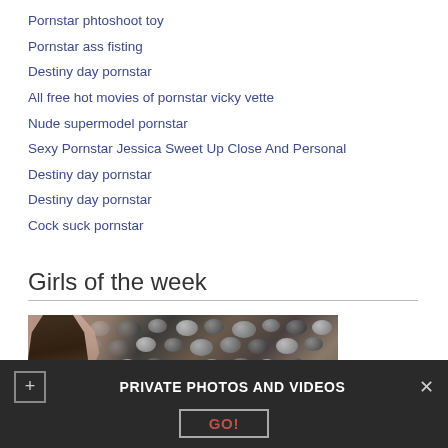Pornstar phtoshoot toy
Pornstar ass fisting
Destiny day pornstar
All free hot movies of pornstar vicky vette
Nude supermodel pornstar
Sexy Pornstar Jessica Sweet Up Close And Personal
Destiny day pornstar
Destiny day pornstar
Cock suck pornstar
Girls of the week
[Figure (photo): Woman with long brown hair in bathroom with pebble tile wall background, holding shower head]
PRIVATE PHOTOS AND VIDEOS
GO!